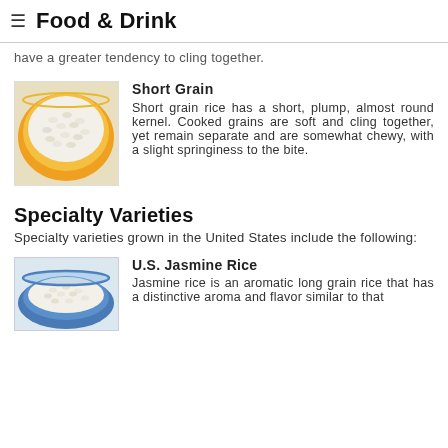Food & Drink
have a greater tendency to cling together.
[Figure (photo): Bowl of short grain rice in an orange bowl, viewed from above]
Short Grain
Short grain rice has a short, plump, almost round kernel. Cooked grains are soft and cling together, yet remain separate and are somewhat chewy, with a slight springiness to the bite.
Specialty Varieties
Specialty varieties grown in the United States include the following:
[Figure (photo): Bowl of U.S. Jasmine rice in a blue bowl, viewed from above]
U.S. Jasmine Rice
Jasmine rice is an aromatic long grain rice that has a distinctive aroma and flavor similar to that